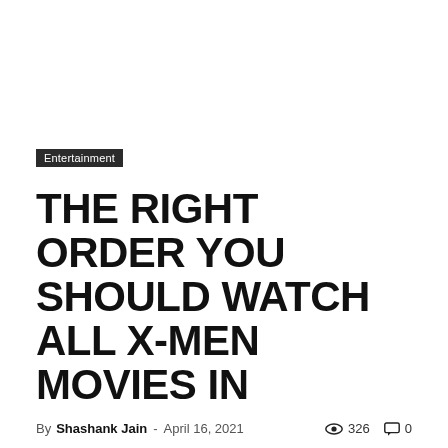Entertainment
THE RIGHT ORDER YOU SHOULD WATCH ALL X-MEN MOVIES IN
By Shashank Jain - April 16, 2021  326  0